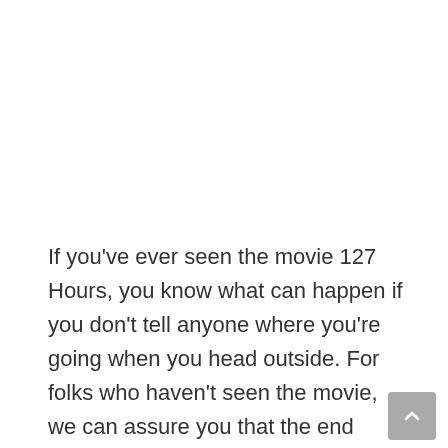If you've ever seen the movie 127 Hours, you know what can happen if you don't tell anyone where you're going when you head outside. For folks who haven't seen the movie, we can assure you that the end result isn't pretty.
Whether you're planning a quick weekend getaway at your favorite campground at Yosemite National Park